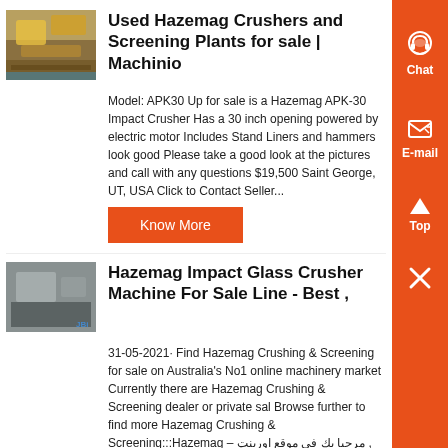[Figure (photo): Thumbnail photo of a yellow crusher/screening plant machine]
Used Hazemag Crushers and Screening Plants for sale | Machinio
Model: APK30 Up for sale is a Hazemag APK-30 Impact Crusher Has a 30 inch opening powered by electric motor Includes Stand Liners and hammers look good Please take a good look at the pictures and call with any questions $19,500 Saint George, UT, USA Click to Contact Seller...
Know More
[Figure (photo): Thumbnail photo of a Hazemag impact glass crusher machine]
Hazemag Impact Glass Crusher Machine For Sale Line - Best ,
31-05-2021· Find Hazemag Crushing & Screening for sale on Australia's No1 online machinery market Currently there are Hazemag Crushing & Screening dealer or private sal Browse further to find more Hazemag Crushing & Screening:::Hazemag – مرحبا بك فى موقع اورينت , Hazemag We stock a comprehensive range of spare and wear parts for Hazemag Impact Crushers:Continue ,...
Know More
[Figure (photo): Thumbnail photo of a hazemag used machine]
hazemag used machine for sale -